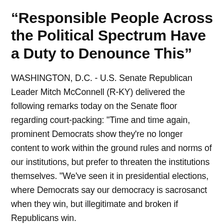“Responsible People Across the Political Spectrum Have a Duty to Denounce This”
WASHINGTON, D.C. - U.S. Senate Republican Leader Mitch McConnell (R-KY) delivered the following remarks today on the Senate floor regarding court-packing: "Time and time again, prominent Democrats show they're no longer content to work within the ground rules and norms of our institutions, but prefer to threaten the institutions themselves. "We've seen it in presidential elections, where Democrats say our democracy is sacrosanct when they win, but illegitimate and broken if Republicans win.
... Continue Reading